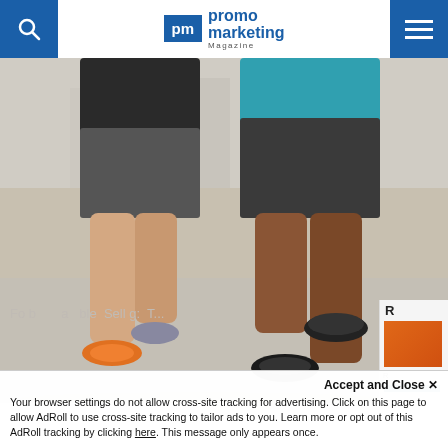Promo Marketing Magazine
[Figure (photo): Two people jogging together outdoors, visible from waist down. One wears a black shirt and grey shorts with orange/grey running shoes. The other wears a teal shirt and dark grey shorts with black running shoes. They are running on a light-colored pavement with blurred background.]
Accept and Close ×
Your browser settings do not allow cross-site tracking for advertising. Click on this page to allow AdRoll to use cross-site tracking to tailor ads to you. Learn more or opt out of this AdRoll tracking by clicking here. This message only appears once.
Fo b         a   ble  Sell  g:  T...